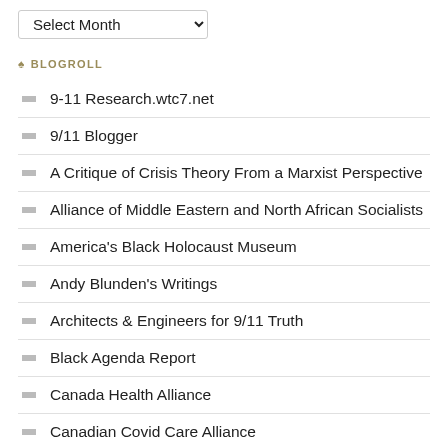BLOGROLL
9-11 Research.wtc7.net
9/11 Blogger
A Critique of Crisis Theory From a Marxist Perspective
Alliance of Middle Eastern and North African Socialists
America's Black Holocaust Museum
Andy Blunden's Writings
Architects & Engineers for 9/11 Truth
Black Agenda Report
Canada Health Alliance
Canadian Covid Care Alliance
Ceasefire Magazine
Chris Busby Exposed (Dr. Christopher Busby)
CLG News